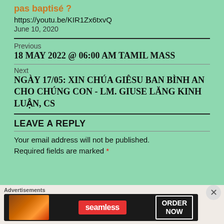pas baptisé ?
https://youtu.be/KIR1Zx6txvQ
June 10, 2020
Previous
18 MAY 2022 @ 06:00 AM TAMIL MASS
Next
NGÀY 17/05: XIN CHÚA GIÊSU BAN BÌNH AN CHO CHÚNG CON - LM. GIUSE LĂNG KINH LUẬN, CS
LEAVE A REPLY
Your email address will not be published. Required fields are marked *
Advertisements